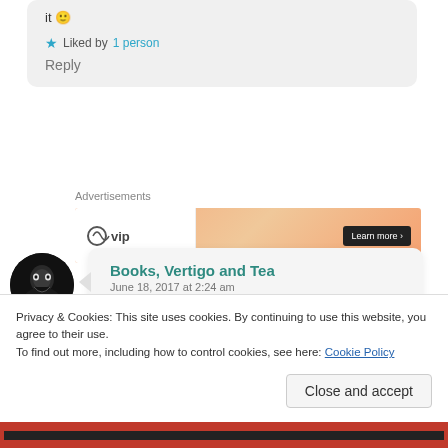it 🙂
★ Liked by 1 person
Reply
Advertisements
[Figure (screenshot): Advertisement banner showing WordPress VIP logo on white background with orange/peach gradient and a dark 'Learn more' button]
[Figure (photo): Dark circular avatar image showing a horror/screaming face]
Books, Vertigo and Tea
June 18, 2017 at 2:24 am

The blurb is a bit much in my
Privacy & Cookies: This site uses cookies. By continuing to use this website, you agree to their use.
To find out more, including how to control cookies, see here: Cookie Policy
Close and accept